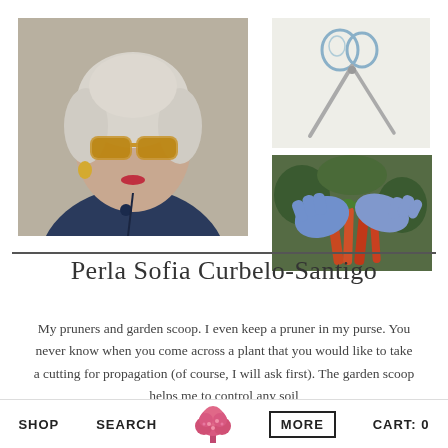[Figure (photo): Portrait of an older woman with short silver hair, wearing amber sunglasses and a dark blue jacket, standing outdoors]
[Figure (photo): Gardening scissors/pruners on a light background]
[Figure (photo): Hands wearing blue gardening gloves pulling carrots from garden soil]
Perla Sofia Curbelo-Santigo
My pruners and garden scoop. I even keep a pruner in my purse. You never know when you come across a plant that you would like to take a cutting for propagation (of course, I will ask first). The garden scoop helps me to control any soil
SHOP   SEARCH   [tree logo]   MORE   CART: 0